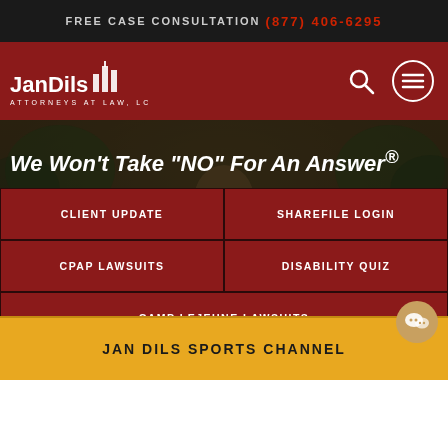FREE CASE CONSULTATION (877) 406-6295
[Figure (logo): Jan Dils Attorneys at Law, LC logo with building icon on dark red navigation bar with search and menu icons]
We Won't Take "NO" For An Answer®
CLIENT UPDATE
SHAREFILE LOGIN
CPAP LAWSUITS
DISABILITY QUIZ
CAMP LEJEUNE LAWSUITS
JAN DILS SPORTS CHANNEL